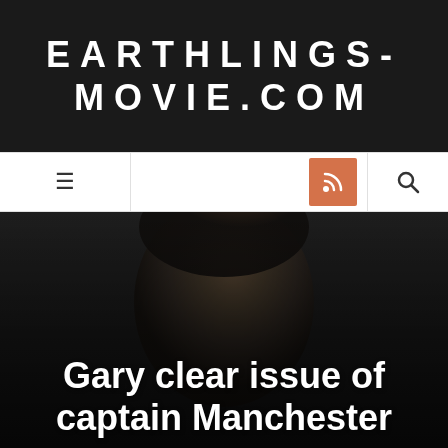EARTHLINGS-MOVIE.COM
[Figure (screenshot): Navigation bar with hamburger menu icon on left, RSS feed orange button in middle-right area, and search icon on right]
[Figure (photo): Close-up photo of a man's face with dark background, partially visible]
Gary clear issue of captain Manchester